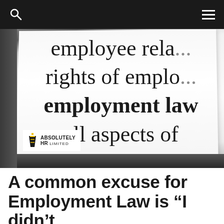[navigation bar with search and menu icons]
[Figure (photo): Close-up photograph of an open book or document showing employment law text including partial words: 'employee rela...', 'rights of emplo...', 'employment law...', 'all aspects of...', 'covered by la...', 'ct the r...'. The Absolutely HR Limited logo appears in the bottom-left corner of the image.]
A common excuse for Employment Law is “I didn’t